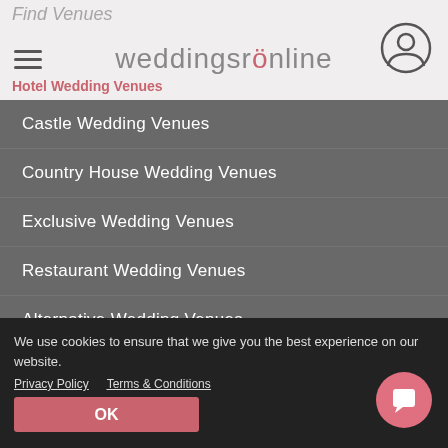weddingsonline
Hotel Wedding Venues
Castle Wedding Venues
Country House Wedding Venues
Exclusive Wedding Venues
Restaurant Wedding Venues
Alternative Wedding Venues
Island Wedding Venues
Wedding Ceremony Location
Barn Wedding Venues
Outdoor Wedding Venues
We use cookies to ensure that we give you the best experience on our website.
Privacy Policy   Terms & Conditions
OK